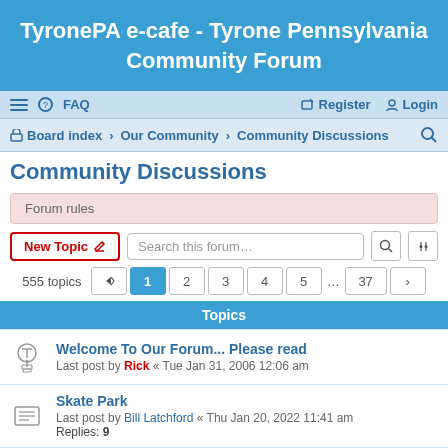TyronePA e-cafe - Tyrone Pennsylvania Community Forum
≡  FAQ    Register  Login
Board index  ›  Our Community  ›  Community Discussions
Community Discussions
Forum rules
New Topic  Search this forum…
555 topics   1  2  3  4  5  ...  37  >
Topics
Welcome To Our Forum... Please read
Last post by Rick « Tue Jan 31, 2006 12:06 am
Skate Park
Last post by Bill Latchford « Thu Jan 20, 2022 11:41 am
Replies: 9
Merry Christmas & Happy New Year
Last post by Bill Latchford « Thu Dec 23, 2021 5:21 pm